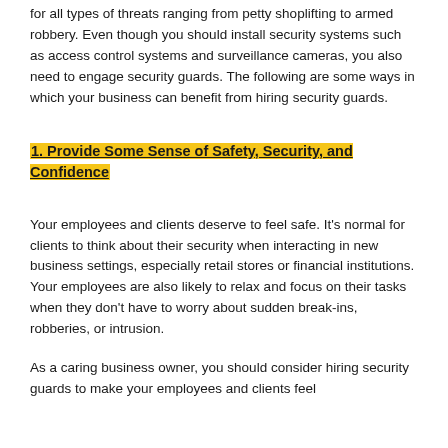for all types of threats ranging from petty shoplifting to armed robbery. Even though you should install security systems such as access control systems and surveillance cameras, you also need to engage security guards. The following are some ways in which your business can benefit from hiring security guards.
1. Provide Some Sense of Safety, Security, and Confidence
Your employees and clients deserve to feel safe. It's normal for clients to think about their security when interacting in new business settings, especially retail stores or financial institutions. Your employees are also likely to relax and focus on their tasks when they don't have to worry about sudden break-ins, robberies, or intrusion.
As a caring business owner, you should consider hiring security guards to make your employees and clients feel